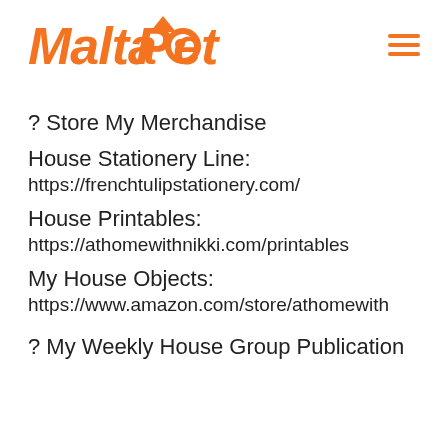MaltaPet [logo] [hamburger menu]
? Store My Merchandise
House Stationery Line:
https://frenchtulipstationery.com/
House Printables:
https://athomewithnikki.com/printables
My House Objects:
https://www.amazon.com/store/athomewith
? My Weekly House Group Publication